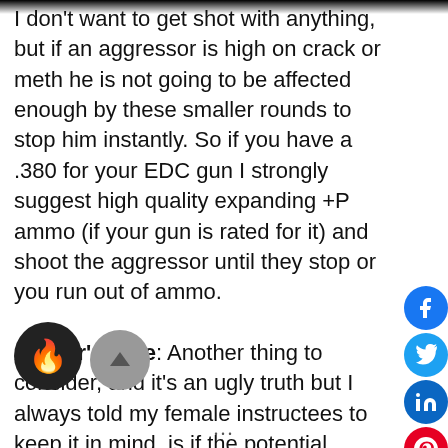I don't want to get shot with anything, but if an aggressor is high on crack or meth he is not going to be affected enough by these smaller rounds to stop him instantly. So if you have a .380 for your EDC gun I strongly suggest high quality expanding +P ammo (if your gun is rated for it) and shoot the aggressor until they stop or you run out of ammo.
Author's note: Another thing to consider, and it's an ugly truth but I always told my female instructees to keep it in mind, is if the potential victim is female and the bad guys intent isn't robbery they may still begin what they planned even if they die before they finish, this is unacceptable. An aggressor ideally needs to be stopped in their tracks.
I have seen people carry a .22 cal for self-defense and this is just way too small to trust with your life (still better than a rock), although I have been known over